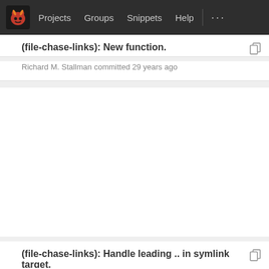Projects   Groups   Snippets   Help
(file-chase-links): New function.
Richard M. Stallman committed 29 years ago
(file-chase-links): Handle leading .. in symlink target.
Richard M. Stallman committed 29 years ago